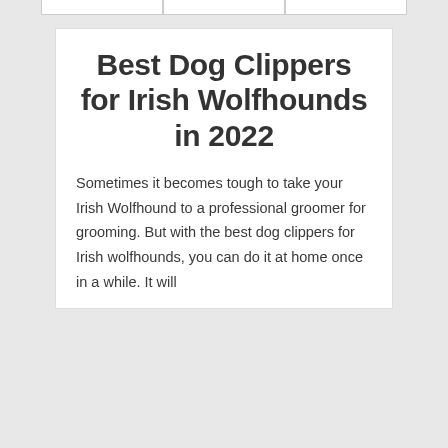Best Dog Clippers for Irish Wolfhounds in 2022
Sometimes it becomes tough to take your Irish Wolfhound to a professional groomer for grooming. But with the best dog clippers for Irish wolfhounds, you can do it at home once in a while. It will